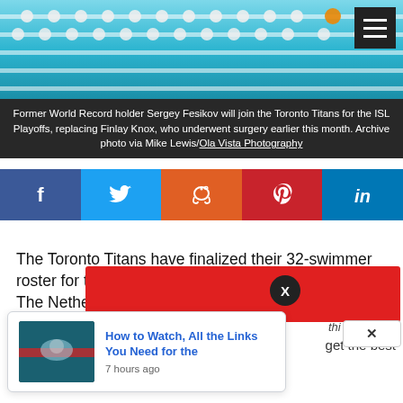[Figure (photo): Swimming pool with lane dividers, teal/blue water, aerial/side view]
Former World Record holder Sergey Fesikov will join the Toronto Titans for the ISL Playoffs, replacing Finlay Knox, who underwent surgery earlier this month. Archive photo via Mike Lewis/Ola Vista Photography
[Figure (infographic): Social media sharing bar with icons: Facebook (blue), Twitter (light blue), Reddit (orange), Pinterest (red), LinkedIn (blue)]
The Toronto Titans have finalized their 32-swimmer roster for the upcoming ISL Playoffs in Eindhoven, The Netherlands.
[Figure (screenshot): Popup notification card showing 'How to Watch, All the Links You Need for the' with thumbnail of swimmer, timestamped '7 hours ago'. Red ad banner partially visible behind. X close button visible.]